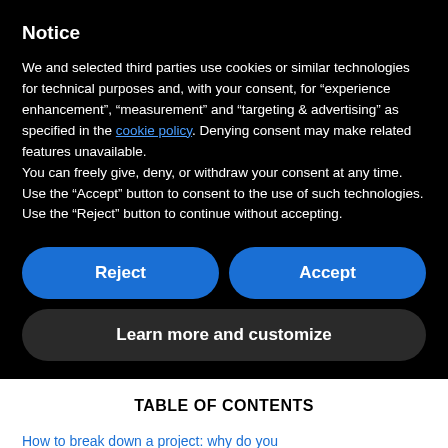Notice
We and selected third parties use cookies or similar technologies for technical purposes and, with your consent, for “experience enhancement”, “measurement” and “targeting & advertising” as specified in the cookie policy. Denying consent may make related features unavailable.
You can freely give, deny, or withdraw your consent at any time. Use the “Accept” button to consent to the use of such technologies. Use the “Reject” button to continue without accepting.
Reject
Accept
Learn more and customize
TABLE OF CONTENTS
How to break down a project: why do you